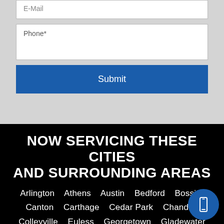E-Mail
Phone*
Submit
NOW SERVICING THESE CITIES AND SURROUNDING AREAS
Arlington   Athens   Austin   Bedford   Bossier   Canton   Carthage   Cedar Park   Chandler   Colleyville   Euless   Georgetown   Gladewater